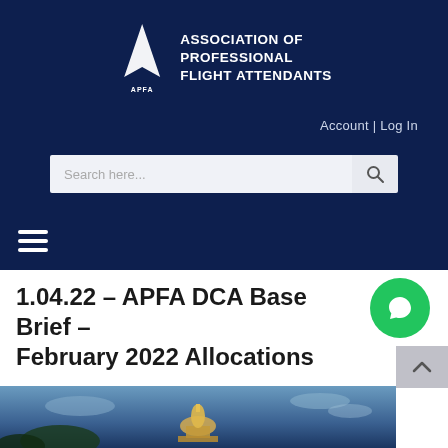[Figure (logo): APFA logo with white triangle/arrow shape and text ASSOCIATION OF PROFESSIONAL FLIGHT ATTENDANTS on dark navy background]
Account | Log In
[Figure (screenshot): Search bar with placeholder text 'Search here...' and magnifying glass icon]
[Figure (other): Hamburger menu icon (three horizontal white lines)]
1.04.22 – APFA DCA Base Brief – February 2022 Allocations
[Figure (photo): Photo of US Capitol building at dusk/night with dramatic sky, trees in foreground]